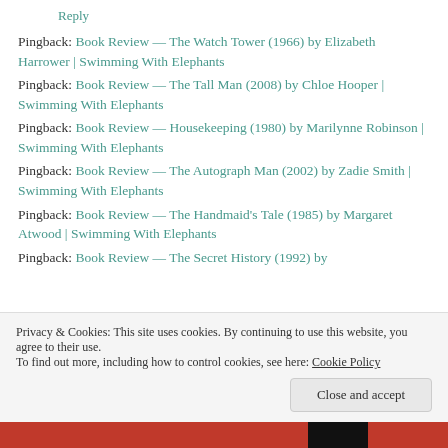Reply
Pingback: Book Review — The Watch Tower (1966) by Elizabeth Harrower | Swimming With Elephants
Pingback: Book Review — The Tall Man (2008) by Chloe Hooper | Swimming With Elephants
Pingback: Book Review — Housekeeping (1980) by Marilynne Robinson | Swimming With Elephants
Pingback: Book Review — The Autograph Man (2002) by Zadie Smith | Swimming With Elephants
Pingback: Book Review — The Handmaid's Tale (1985) by Margaret Atwood | Swimming With Elephants
Pingback: Book Review — The Secret History (1992) by
Privacy & Cookies: This site uses cookies. By continuing to use this website, you agree to their use. To find out more, including how to control cookies, see here: Cookie Policy
Close and accept